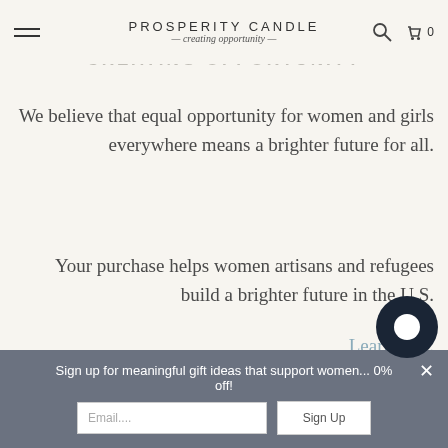PROSPERITY CANDLE — creating opportunity —
CREATING OPPORTUNITY
We believe that equal opportunity for women and girls everywhere means a brighter future for all.
Your purchase helps women artisans and refugees build a brighter future in the U.S.
Learn how.
Sign up for meaningful gift ideas that support women... 0% off!